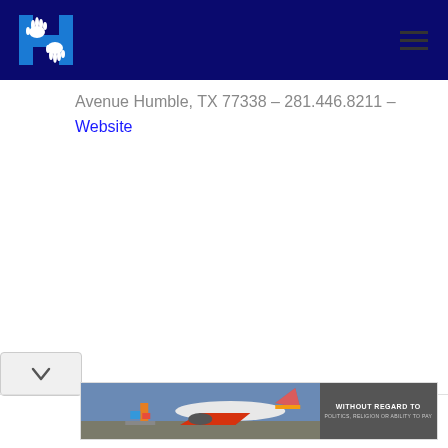[Figure (logo): Dark blue header bar with a blue letter H logo containing white hand silhouettes, and a hamburger menu icon on the right]
Avenue Humble, TX 77338 – 281.446.8211 –
Website
[Figure (other): Chevron/down arrow button in a light gray rounded rectangle]
[Figure (photo): Advertisement banner showing a cargo airplane being loaded at an airport with text 'WITHOUT REGARD TO POLITICS, RELIGION OR ABILITY TO PAY']